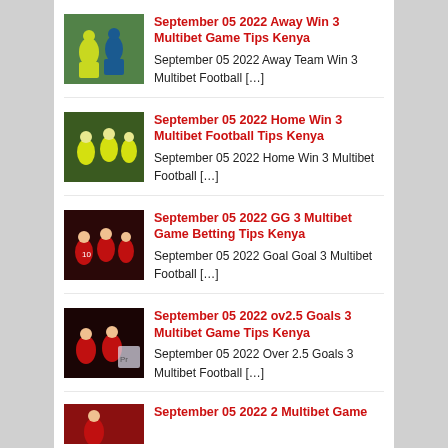September 05 2022 Away Win 3 Multibet Game Tips Kenya
September 05 2022 Away Team Win 3 Multibet Football […]
September 05 2022 Home Win 3 Multibet Football Tips Kenya
September 05 2022 Home Win 3 Multibet Football […]
September 05 2022 GG 3 Multibet Game Betting Tips Kenya
September 05 2022 Goal Goal 3 Multibet Football […]
September 05 2022 ov2.5 Goals 3 Multibet Game Tips Kenya
September 05 2022 Over 2.5 Goals 3 Multibet Football […]
September 05 2022 2 Multibet Game…